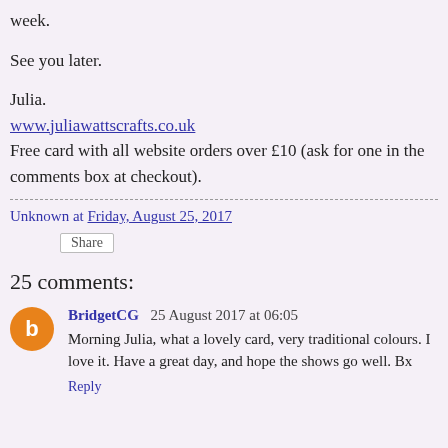week.
See you later.
Julia.
www.juliawattscrafts.co.uk
Free card with all website orders over £10 (ask for one in the comments box at checkout).
Unknown at Friday, August 25, 2017
Share
25 comments:
BridgetCG  25 August 2017 at 06:05
Morning Julia, what a lovely card, very traditional colours. I love it. Have a great day, and hope the shows go well. Bx
Reply